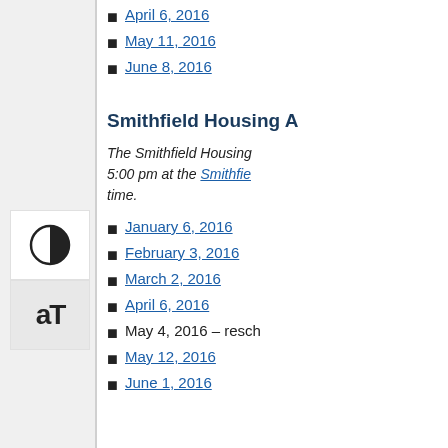April 6, 2016
May 11, 2016
June 8, 2016
Smithfield Housing A
The Smithfield Housing … 5:00 pm at the Smithfie… time.
January 6, 2016
February 3, 2016
March 2, 2016
April 6, 2016
May 4, 2016 – resch…
May 12, 2016
June 1, 2016